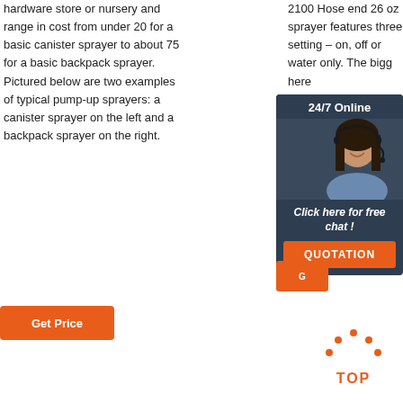hardware store or nursery and range in cost from under 20 for a basic canister sprayer to about 75 for a basic backpack sprayer. Pictured below are two examples of typical pump-up sprayers: a canister sprayer on the left and a backpack sprayer on the right.
2100 Hose end 26 oz sprayer features three setting – on, off or water only. The bigg... here... to p... che... ...
[Figure (other): 24/7 Online chat widget with a woman wearing a headset, 'Click here for free chat!' text and a QUOTATION button]
[Figure (other): Orange 'Get Price' button on the right side]
[Figure (other): Orange 'Get Price' button on the left side]
[Figure (other): Orange dots arc above TOP text forming a back-to-top icon]